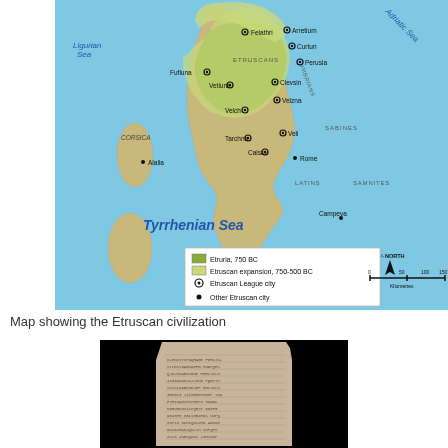[Figure (map): Map showing the Etruscan civilization territory in ancient Italy, including the Ligurian Sea, Tyrrhenian Sea, Adriatic Sea area, Corsica, and labeled cities such as Felathri, Arretium, Curtun, Perusia, Fufluna, Vetluna, Clevsin, Velzna, Velch, Tarchna, Veli, Caisra, Rome, Alalia, and Campeva. Regions labeled include Etruscans, Umbrians, Sabines, Latins, Samnites, Campania. Legend shows Etruria 750 BC (darker green), Etruscan expansion 750-500 BC (lighter green), Etruscan League city (circle with dot), Other Etruscan city (solid dot). North arrow and scale bar in kilometres.]
Map showing the Etruscan civilization
[Figure (photo): Photograph of an ancient stone stele or tablet covered in dense inscriptions, photographed against a black background. The stone appears to be a tall rectangular block with text carved across its surface.]